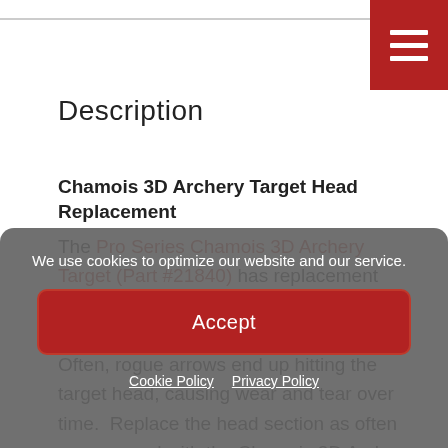[Figure (other): Hamburger menu button in dark red/crimson color with three white horizontal bars]
Description
Chamois 3D Archery Target Head Replacement
The Pro Series Chamois 3D Archery Target (Part #21840) has replacement parts so you can purchase only the parts you need, instead of a whole new target.  Often, rogue arrows end up hitting the target head, causing wear and tear over time.  Replace the head section as often as you need with the Chamois 3D Archery Target
We use cookies to optimize our website and our service.
Accept
Cookie Policy  Privacy Policy